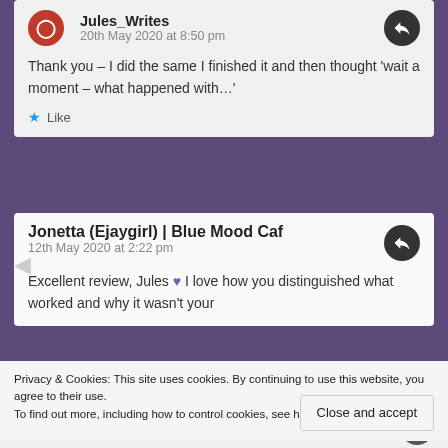Jules_Writes
20th May 2020 at 8:50 pm
Thank you – I did the same I finished it and then thought 'wait a moment – what happened with…'
Like
Jonetta (Ejaygirl) | Blue Mood Café
12th May 2020 at 2:22 pm
Excellent review, Jules 💜 I love how you distinguished what worked and why it wasn't your
Privacy & Cookies: This site uses cookies. By continuing to use this website, you agree to their use.
To find out more, including how to control cookies, see here: Cookie Policy
Close and accept
likeherdingcatsblog